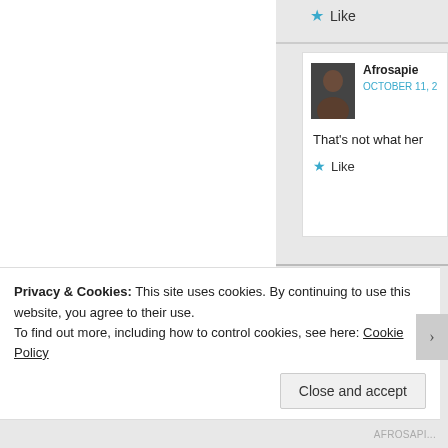Like
Afrosapie
OCTOBER 11,
That's not what her
Like
ian smith
SEPTEMBER 5, 2017 AT 11:51
according to peepee's map,
population. how'd that happe
Privacy & Cookies: This site uses cookies. By continuing to use this website, you agree to their use.
To find out more, including how to control cookies, see here: Cookie Policy
Close and accept